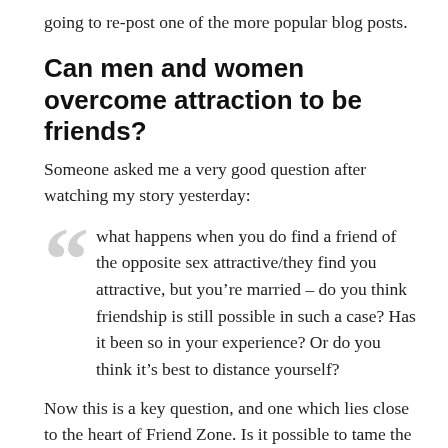going to re-post one of the more popular blog posts.
Can men and women overcome attraction to be friends?
Someone asked me a very good question after watching my story yesterday:
what happens when you do find a friend of the opposite sex attractive/they find you attractive, but you’re married – do you think friendship is still possible in such a case? Has it been so in your experience? Or do you think it’s best to distance yourself?
Now this is a key question, and one which lies close to the heart of Friend Zone. Is it possible to tame the beast of sexual attraction? Is it possible to